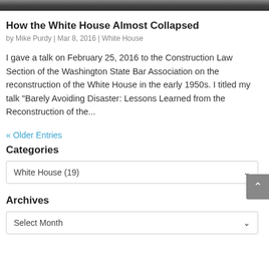[Figure (photo): Black and white photograph strip at top of page]
How the White House Almost Collapsed
by Mike Purdy | Mar 8, 2016 | White House
I gave a talk on February 25, 2016 to the Construction Law Section of the Washington State Bar Association on the reconstruction of the White House in the early 1950s. I titled my talk “Barely Avoiding Disaster: Lessons Learned from the Reconstruction of the...
« Older Entries
Categories
White House  (19)
Archives
Select Month